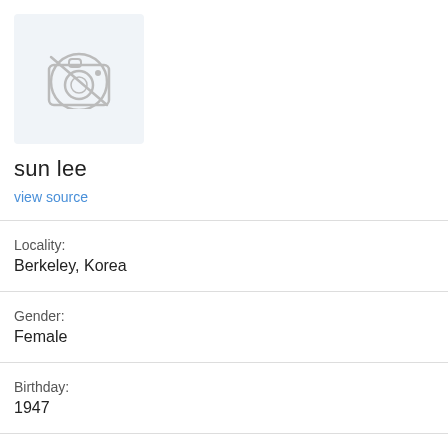[Figure (photo): Profile photo placeholder with camera icon crossed out, light blue-grey background]
sun lee
view source
Locality:
Berkeley, Korea
Gender:
Female
Birthday:
1947